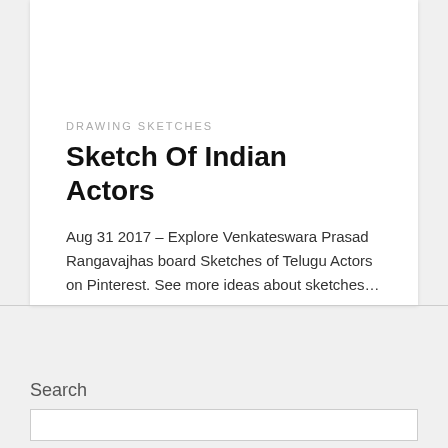DRAWING SKETCHES
Sketch Of Indian Actors
Aug 31 2017 – Explore Venkateswara Prasad Rangavajhas board Sketches of Telugu Actors on Pinterest. See more ideas about sketches…
Search